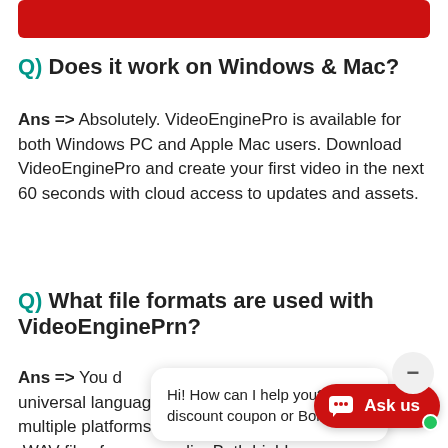[Figure (other): Red rounded rectangle banner at top of page]
Q) Does it work on Windows & Mac?
Ans => Absolutely. VideoEnginePro is available for both Windows PC and Apple Mac users. Download VideoEnginePro and create your first video in the next 60 seconds with cloud access to updates and assets.
Q) What file formats are used with VideoEnginePro?
Ans => You d... universal language for watching video across multiple platforms. You can also u... .WAV files for your audio. Both highly recognized, world wide, universal formats so...
[Figure (other): Chat widget showing 'Hi! How can I help you? Need discount coupon or Bonuses?' with minimize button and red 'Ask us' button with green dot]